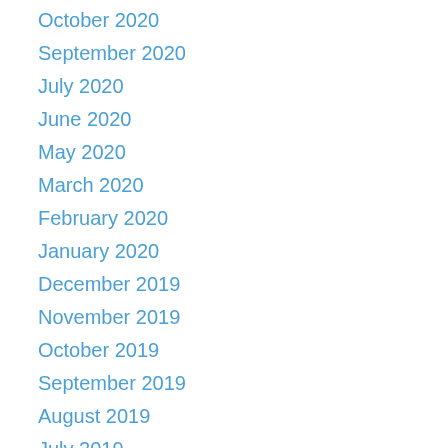October 2020
September 2020
July 2020
June 2020
May 2020
March 2020
February 2020
January 2020
December 2019
November 2019
October 2019
September 2019
August 2019
July 2019
May 2019
April 2019
March 2019
February 2019
January 2019
December 2018